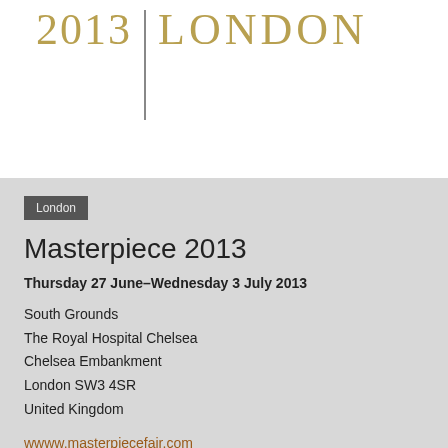[Figure (logo): 2013 | LONDON text logo in gold/olive serif font with vertical divider line]
London
Masterpiece 2013
Thursday 27 June–Wednesday 3 July 2013
South Grounds
The Royal Hospital Chelsea
Chelsea Embankment
London SW3 4SR
United Kingdom
wwww.masterpiecefair.com